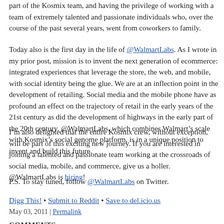part of the Kosmix team, and having the privilege of working with a team of extremely talented and passionate individuals who, over the course of the past several years, went from coworkers to family.
Today also is the first day in the life of @WalmartLabs. As I wrote in my prior post, mission is to invent the next generation of ecommerce: integrated experiences that leverage the store, the web, and mobile, with social identity being the glue. We are at an inflection point in the development of retailing. Social media and the mobile phone will have as profound an effect on the trajectory of retail in the early years of the 21st century as did the development of highways in the early part of the 20th century. @WalmartLabs, which combines Walmart’s scale with Kosmix’s social genome platform, is in a unique position to invent and build this future.
I’m also delighted that the entire Kosmix crew, without exception, will be part of this exciting new journey. If you are interested in joining a talented and passionate team working at the crossroads of social media, mobile, and commerce, give us a holler. @WalmartLabs is hiring!
P.S. To stay tuned, follow @WalmartLabs on Twitter.
Digg This! • Submit to Reddit • Save to del.icio.us
May 03, 2011 | Permalink
COMMENTS